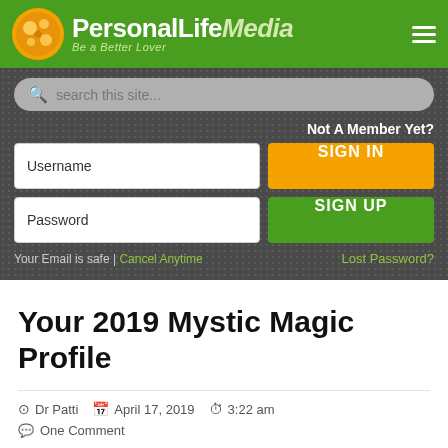[Figure (logo): PersonalLifeMedia logo with tagline 'Be a Better Lover' on green header background]
search this site...
Not A Member Yet?
Username
SIGN IN
Password
SIGN UP
Your Email is safe | Cancel Anytime   Lost Password?
Your 2019 Mystic Magic Profile
Dr Patti   April 17, 2019   3:22 am
One Comment